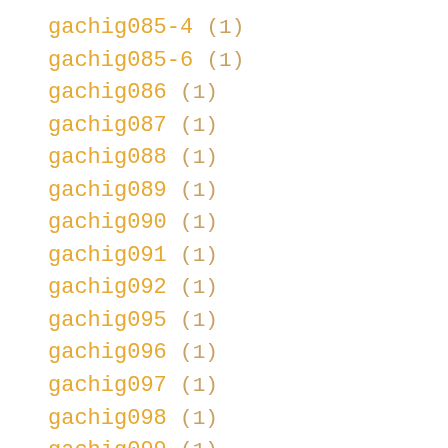gachig085-4 (1)
gachig085-6 (1)
gachig086 (1)
gachig087 (1)
gachig088 (1)
gachig089 (1)
gachig090 (1)
gachig091 (1)
gachig092 (1)
gachig095 (1)
gachig096 (1)
gachig097 (1)
gachig098 (1)
gachig099 (1)
gachig100 (1)